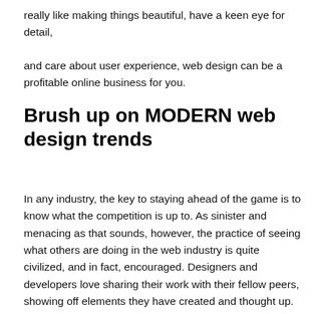really like making things beautiful, have a keen eye for detail, and care about user experience, web design can be a profitable online business for you.
Brush up on MODERN web design trends
In any industry, the key to staying ahead of the game is to know what the competition is up to. As sinister and menacing as that sounds, however, the practice of seeing what others are doing in the web industry is quite civilized, and in fact, encouraged. Designers and developers love sharing their work with their fellow peers, showing off elements they have created and thought up. It is this ritual of consistently browsing through modern design techniques and development nuggets that keep any web person up to scratch.